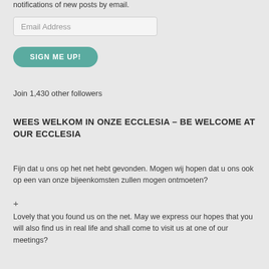notifications of new posts by email.
Email Address
SIGN ME UP!
Join 1,430 other followers
WEES WELKOM IN ONZE ECCLESIA – BE WELCOME AT OUR ECCLESIA
Fijn dat u ons op het net hebt gevonden. Mogen wij hopen dat u ons ook op een van onze bijeenkomsten zullen mogen ontmoeten?
+
Lovely that you found us on the net. May we express our hopes that you will also find us in real life and shall come to visit us at one of our meetings?